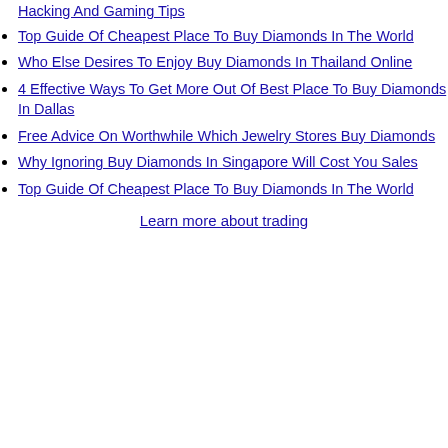Hacking And Gaming Tips
Top Guide Of Cheapest Place To Buy Diamonds In The World
Who Else Desires To Enjoy Buy Diamonds In Thailand Online
4 Effective Ways To Get More Out Of Best Place To Buy Diamonds In Dallas
Free Advice On Worthwhile Which Jewelry Stores Buy Diamonds
Why Ignoring Buy Diamonds In Singapore Will Cost You Sales
Top Guide Of Cheapest Place To Buy Diamonds In The World
Learn more about trading